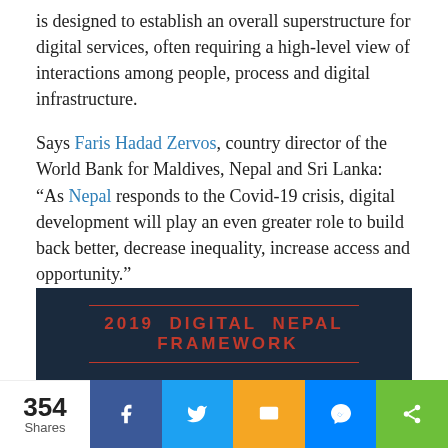is designed to establish an overall superstructure for digital services, often requiring a high-level view of interactions among people, process and digital infrastructure.
Says Faris Hadad Zervos, country director of the World Bank for Maldives, Nepal and Sri Lanka: “As Nepal responds to the Covid-19 crisis, digital development will play an even greater role to build back better, decrease inequality, increase access and opportunity.”
[Figure (infographic): Dark navy banner with red decorative lines above and below reading '2019 DIGITAL NEPAL FRAMEWORK' in red uppercase spaced lettering]
354 Shares | Facebook | Twitter | SMS | Messenger | Share